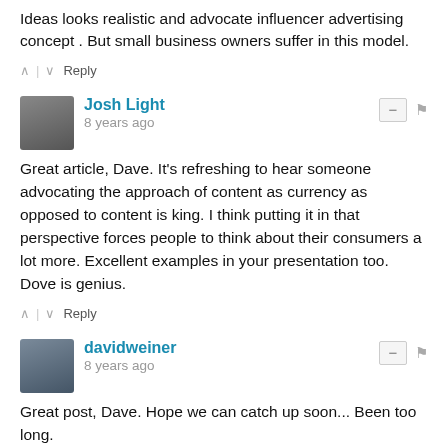Ideas looks realistic and advocate influencer advertising concept . But small business owners suffer in this model.
↑ | ↓   Reply
Josh Light
8 years ago
Great article, Dave. It's refreshing to hear someone advocating the approach of content as currency as opposed to content is king. I think putting it in that perspective forces people to think about their consumers a lot more. Excellent examples in your presentation too. Dove is genius.
↑ | ↓   Reply
davidweiner
8 years ago
Great post, Dave. Hope we can catch up soon... Been too long.
↑ | ↓   Reply
davidarmano → davidweiner
8 years ago edited